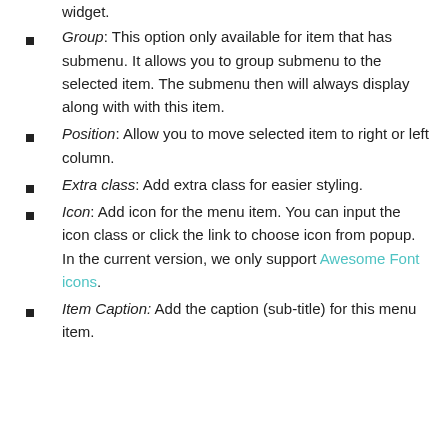widget.
Group: This option only available for item that has submenu. It allows you to group submenu to the selected item. The submenu then will always display along with this item.
Position: Allow you to move selected item to right or left column.
Extra class: Add extra class for easier styling.
Icon: Add icon for the menu item. You can input the icon class or click the link to choose icon from popup. In the current version, we only support Awesome Font icons.
Item Caption: Add the caption (sub-title) for this menu item.